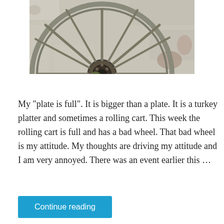[Figure (photo): A weathered wooden wagon wheel leaning against a crumbling white/grey stone or plaster wall, photographed up close showing the hub and spokes.]
My "plate is full". It is bigger than a plate. It is a turkey platter and sometimes a rolling cart. This week the rolling cart is full and has a bad wheel. That bad wheel is my attitude. My thoughts are driving my attitude and I am very annoyed. There was an event earlier this …
Continue reading